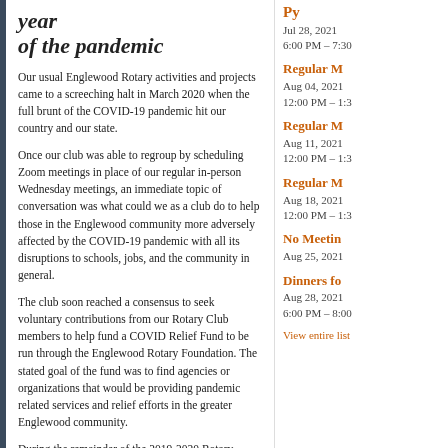year of the pandemic
Our usual Englewood Rotary activities and projects came to a screeching halt in March 2020 when the full brunt of the COVID-19 pandemic hit our country and our state.
Once our club was able to regroup by scheduling Zoom meetings in place of our regular in-person Wednesday meetings, an immediate topic of conversation was what could we as a club do to help those in the Englewood community more adversely affected by the COVID-19 pandemic with all its disruptions to schools, jobs, and the community in general.
The club soon reached a consensus to seek voluntary contributions from our Rotary Club members to help fund a COVID Relief Fund to be run through the Englewood Rotary Foundation. The stated goal of the fund was to find agencies or organizations that would be providing pandemic related services and relief efforts in the greater Englewood community.
During the remainder of the 2019-2020 Rotary fiscal year the club members contributed $1,450 to the relief fund. This was through June 30, 2020. Then, in Rotary
Regular M
Jul 28, 2021
6:00 PM – 7:30
Regular M
Aug 04, 2021
12:00 PM – 1:3
Regular M
Aug 11, 2021
12:00 PM – 1:3
Regular M
Aug 18, 2021
12:00 PM – 1:3
No Meetin
Aug 25, 2021
Dinners fo
Aug 28, 2021
6:00 PM – 8:00
View entire list